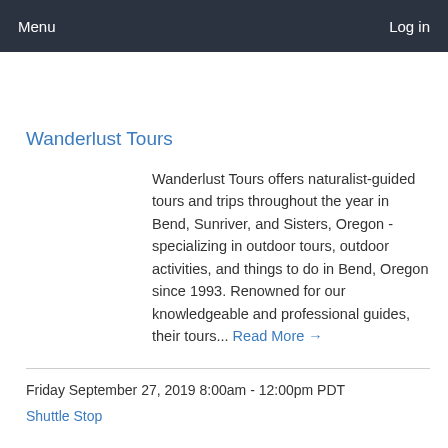Menu    Log in
Wanderlust Tours
Wanderlust Tours offers naturalist-guided tours and trips throughout the year in Bend, Sunriver, and Sisters, Oregon - specializing in outdoor tours, outdoor activities, and things to do in Bend, Oregon since 1993. Renowned for our knowledgeable and professional guides, their tours... Read More →
Friday September 27, 2019 8:00am - 12:00pm PDT
Shuttle Stop